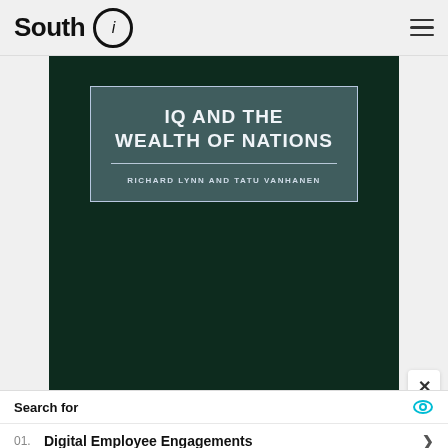South i
[Figure (photo): Book cover of 'IQ and the Wealth of Nations' by Richard Lynn and Tatu Vanhanen. Dark green cover with a light blue rectangular title box containing the book title and authors' names in white text.]
Search for
01. Digital Employee Engagements
02. Best Cloud Based Storage Softwares
Yahoo! Search | Sponsored